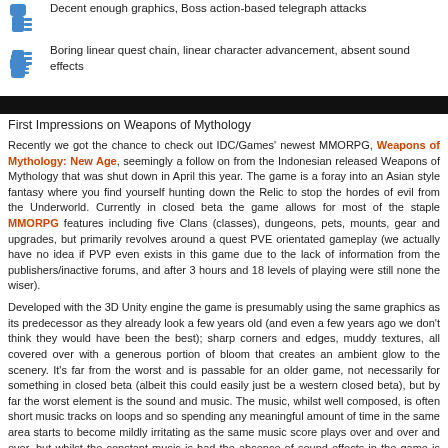Decent enough graphics, Boss action-based telegraph attacks
Boring linear quest chain, linear character advancement, absent sound effects
First Impressions on Weapons of Mythology
Recently we got the chance to check out IDC/Games' newest MMORPG, Weapons of Mythology: New Age, seemingly a follow on from the Indonesian released Weapons of Mythology that was shut down in April this year. The game is a foray into an Asian style fantasy where you find yourself hunting down the Relic to stop the hordes of evil from the Underworld. Currently in closed beta the game allows for most of the staple MMORPG features including five Clans (classes), dungeons, pets, mounts, gear and upgrades, but primarily revolves around a quest PVE orientated gameplay (we actually have no idea if PVP even exists in this game due to the lack of information from the publishers/inactive forums, and after 3 hours and 18 levels of playing were still none the wiser).
Developed with the 3D Unity engine the game is presumably using the same graphics as its predecessor as they already look a few years old (and even a few years ago we don't think they would have been the best); sharp corners and edges, muddy textures, all covered over with a generous portion of bloom that creates an ambient glow to the scenery. It's far from the worst and is passable for an older game, not necessarily for something in closed beta (albeit this could easily just be a western closed beta), but by far the worst element is the sound and music. The music, whilst well composed, is often short music tracks on loops and so spending any meaningful amount of time in the same area starts to become mildly irritating as the same music score plays over and over and over, but whilst the constant music is bad the absence of sound effects in the game is even worse, and this comes primarily in the form of lack of noise from some